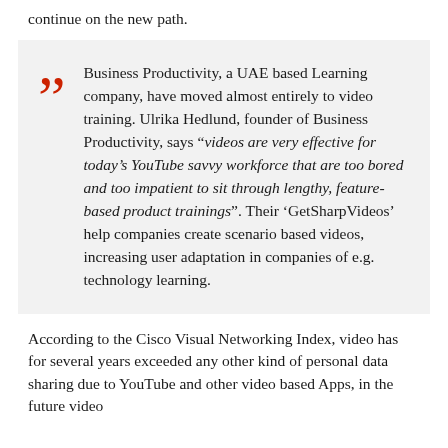continue on the new path.
Business Productivity, a UAE based Learning company, have moved almost entirely to video training. Ulrika Hedlund, founder of Business Productivity, says “videos are very effective for today’s YouTube savvy workforce that are too bored and too impatient to sit through lengthy, feature-based product trainings”. Their ‘GetSharpVideos’ help companies create scenario based videos, increasing user adaptation in companies of e.g. technology learning.
According to the Cisco Visual Networking Index, video has for several years exceeded any other kind of personal data sharing due to YouTube and other video based Apps, in the future video